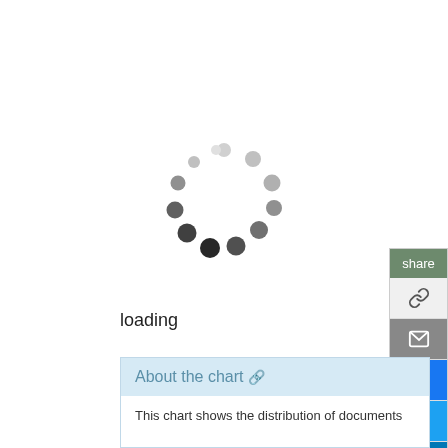[Figure (other): Animated loading spinner composed of dots arranged in a circle, ranging from light gray to dark gray/black indicating rotation progress]
loading
[Figure (other): Share panel with buttons: share header (green), link icon (gray), email icon (gray), Facebook (blue), Twitter (light blue), LinkedIn (dark blue)]
About the chart 🔗
This chart shows the distribution of documents